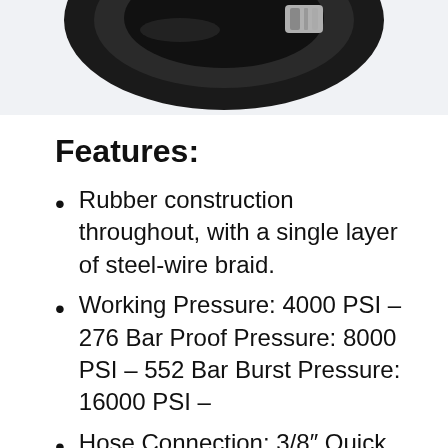[Figure (photo): Partial view of a black rubber pressure washer hose coil with silver metal clamp/fitting visible at the top, photographed from above on a light background.]
Features:
Rubber construction throughout, with a single layer of steel-wire braid.
Working Pressure: 4000 PSI – 276 Bar Proof Pressure: 8000 PSI – 552 Bar Burst Pressure: 16000 PSI –
Hose Connection: 3/8″ Quick Connect Female Brass Socket & 3/8″ Steel Plug
Designed for flow ratings of 2.5 to 5 GPM commercial cleaning